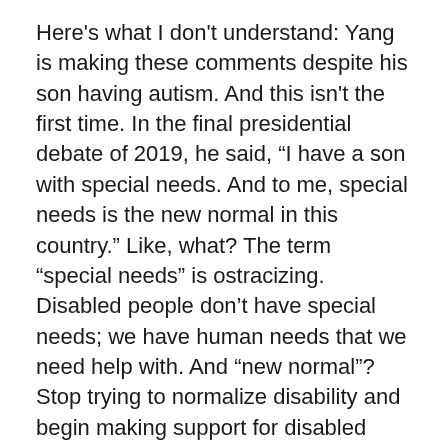Here's what I don't understand: Yang is making these comments despite his son having autism. And this isn't the first time. In the final presidential debate of 2019, he said, “I have a son with special needs. And to me, special needs is the new normal in this country.” Like, what? The term “special needs” is ostracizing. Disabled people don’t have special needs; we have human needs that we need help with. And “new normal”? Stop trying to normalize disability and begin making support for disabled people more mainstream. He alienates his own son.
Does he not see it? I don’t think he recognizes the connection—sometimes parents see their disabled children as so “normal” that they don’t realize they belong to broader communities. This is why it’s so